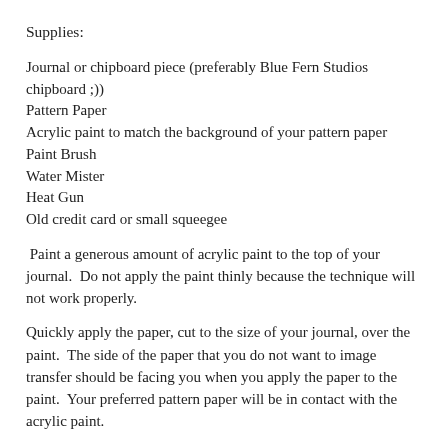Supplies:
Journal or chipboard piece (preferably Blue Fern Studios chipboard ;))
Pattern Paper
Acrylic paint to match the background of your pattern paper
Paint Brush
Water Mister
Heat Gun
Old credit card or small squeegee
Paint a generous amount of acrylic paint to the top of your journal.  Do not apply the paint thinly because the technique will not work properly.
Quickly apply the paper, cut to the size of your journal, over the paint.  The side of the paper that you do not want to image transfer should be facing you when you apply the paper to the paint.  Your preferred pattern paper will be in contact with the acrylic paint.